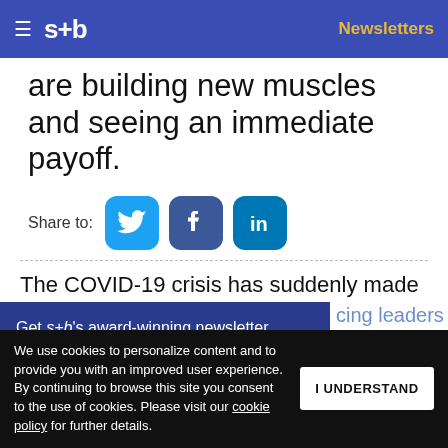s+b | Newsletters
are building new muscles and seeing an immediate payoff.
[Figure (infographic): Share to: Twitter, Facebook, LinkedIn social media buttons]
The COVID-19 crisis has suddenly made prioritization a necessity, forcing leaders to ask the right questions. What matters
Get s+b's award-winning newsletter delivered to your inbox.
We use cookies to personalize content and to provide you with an improved user experience. By continuing to browse this site you consent to the use of cookies. Please visit our cookie policy for further details.